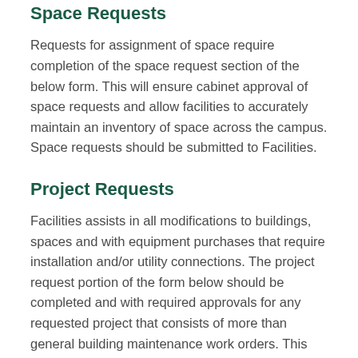Space Requests
Requests for assignment of space require completion of the space request section of the below form. This will ensure cabinet approval of space requests and allow facilities to accurately maintain an inventory of space across the campus. Space requests should be submitted to Facilities.
Project Requests
Facilities assists in all modifications to buildings, spaces and with equipment purchases that require installation and/or utility connections. The project request portion of the form below should be completed and with required approvals for any requested project that consists of more than general building maintenance work orders. This